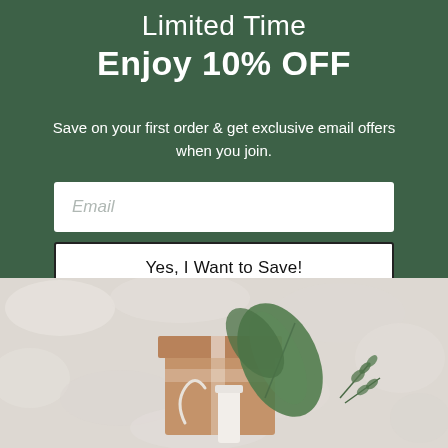Limited Time
Enjoy 10% OFF
Save on your first order & get exclusive email offers when you join.
[Figure (screenshot): Email input field with placeholder text 'Email' and a 'Yes, I Want to Save!' button below it, on a dark green background]
[Figure (photo): Cozy flatlay photo showing a wrapped kraft paper gift box with a eucalyptus leaf on top, a white vase or candle, greenery sprigs, and a string loop, all resting on a soft white fuzzy blanket or fur surface]